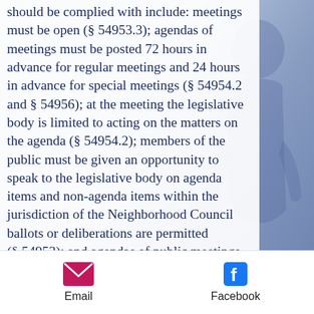should be complied with include: meetings must be open (§ 54953.3); agendas of meetings must be posted 72 hours in advance for regular meetings and 24 hours in advance for special meetings (§ 54954.2 and § 54956); at the meeting the legislative body is limited to acting on the matters on the agenda (§ 54954.2); members of the public must be given an opportunity to speak to the legislative body on agenda items and non-agenda items within the jurisdiction of the Neighborhood Council ballots or deliberations are permitted (§ 54953); and agendas of public meetings and any other distributed writings are public records and shall be made available upon request without delay (§ 54957.5).
* There are some statutory exceptions that allow for a majority of the governing board
Email   Facebook